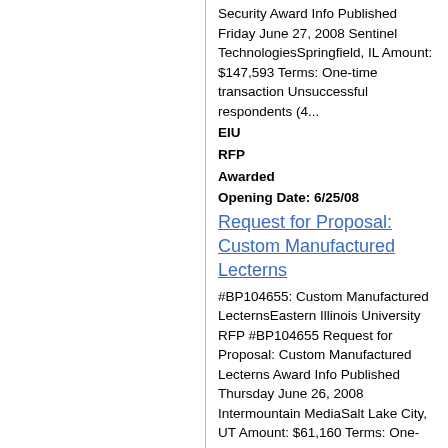Security Award Info Published Friday June 27, 2008 Sentinel TechnologiesSpringfield, IL Amount: $147,593 Terms: One-time transaction Unsuccessful respondents (4...
EIU
RFP
Awarded
Opening Date: 6/25/08
Request for Proposal: Custom Manufactured Lecterns
#BP104655: Custom Manufactured LecternsEastern Illinois University RFP #BP104655 Request for Proposal: Custom Manufactured Lecterns Award Info Published Thursday June 26, 2008 Intermountain MediaSalt Lake City, UT Amount: $61,160 Terms: One-time transaction This vendor has agreed to extend their o...
EIU